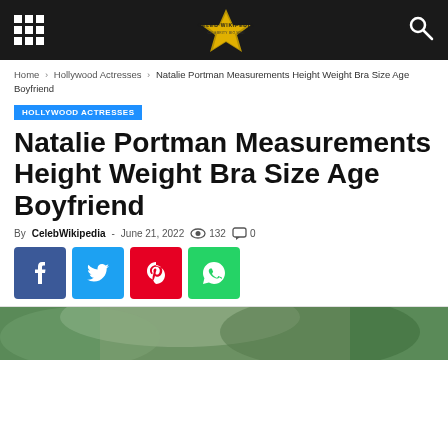Celeb Wikipedia – navigation bar with grid menu, logo, and search icon
Home › Hollywood Actresses › Natalie Portman Measurements Height Weight Bra Size Age Boyfriend
HOLLYWOOD ACTRESSES
Natalie Portman Measurements Height Weight Bra Size Age Boyfriend
By CelebWikipedia - June 21, 2022  132  0
[Figure (infographic): Social share buttons: Facebook (blue), Twitter (light blue), Pinterest (red), WhatsApp (green)]
[Figure (photo): Partial photo of Natalie Portman outdoors with green foliage background]